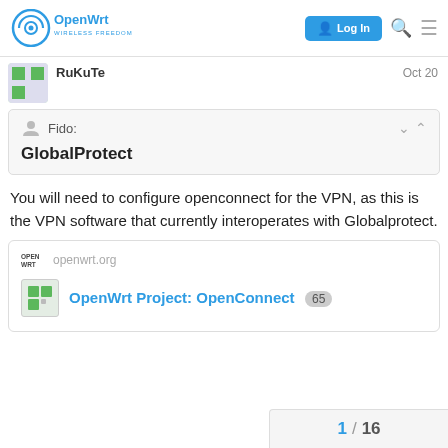OpenWrt — Wireless Freedom | Log In
RuKuTe  Oct 20
Fido:
GlobalProtect
You will need to configure openconnect for the VPN, as this is the VPN software that currently interoperates with Globalprotect.
openwrt.org
OpenWrt Project: OpenConnect  65
1 / 16